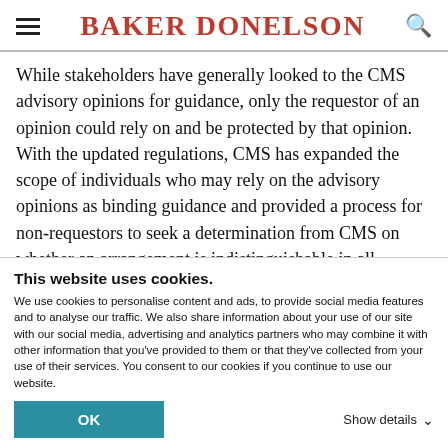BAKER DONELSON
While stakeholders have generally looked to the CMS advisory opinions for guidance, only the requestor of an opinion could rely on and be protected by that opinion. With the updated regulations, CMS has expanded the scope of individuals who may rely on the advisory opinions as binding guidance and provided a process for non-requestors to seek a determination from CMS on whether an arrangement is indistinguishable in all
This website uses cookies.
We use cookies to personalise content and ads, to provide social media features and to analyse our traffic. We also share information about your use of our site with our social media, advertising and analytics partners who may combine it with other information that you've provided to them or that they've collected from your use of their services. You consent to our cookies if you continue to use our website.
OK
Show details